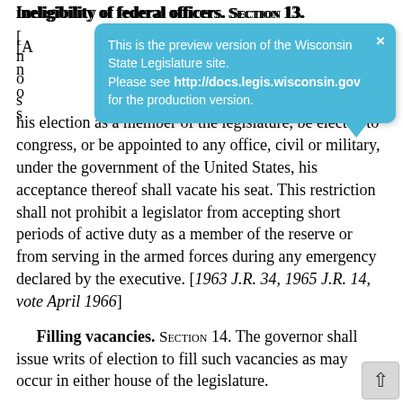Ineligibility of federal officers. SECTION 13.
[...] his election as a member of the legislature, be elected to congress, or be appointed to any office, civil or military, under the government of the United States, his acceptance thereof shall vacate his seat. This restriction shall not prohibit a legislator from accepting short periods of active duty as a member of the reserve or from serving in the armed forces during any emergency declared by the executive. [1963 J.R. 34, 1965 J.R. 14, vote April 1966]
Filling vacancies. SECTION 14. The governor shall issue writs of election to fill such vacancies as may occur in either house of the legislature.
Exemption from arrest and civil proces...
[Figure (infographic): Light blue tooltip/banner overlay with text: 'This is the preview version of the Wisconsin State Legislature site. Please see http://docs.legis.wisconsin.gov for the production version.' with a close X button in top right.]